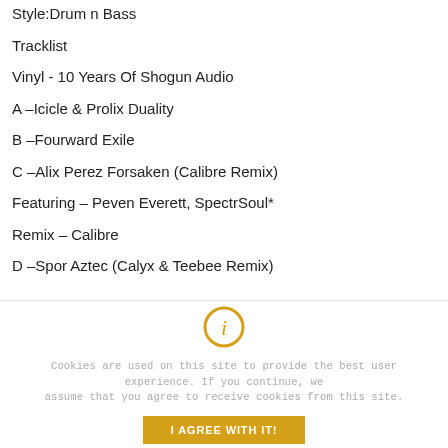Style:Drum n Bass
Tracklist
Vinyl - 10 Years Of Shogun Audio
A –Icicle & Prolix Duality
B –Fourward Exile
C –Alix Perez Forsaken (Calibre Remix)
Featuring – Peven Everett, SpectrSoul*
Remix – Calibre
D –Spor Aztec (Calyx & Teebee Remix)
Cookies are used on this site to provide the best user experience. If you continue, we assume that you agree to receive cookies from this site.
I AGREE WITH IT!